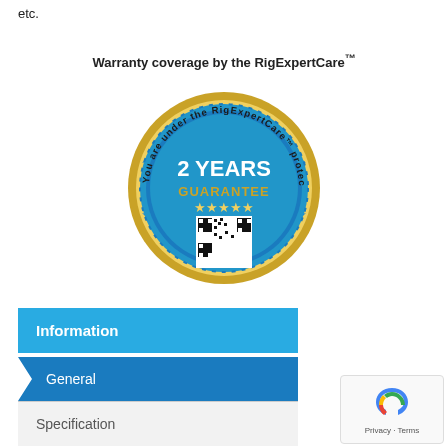etc.
Warranty coverage by the RigExpertCare™
[Figure (logo): RigExpertCare 2 Years Guarantee badge/seal. A circular blue and gold seal with ribbon, text reading 'You are under the RigExpertCare™ protection', '2 YEARS GUARANTEE', five stars, and a QR code in the center.]
Information
General
Specification